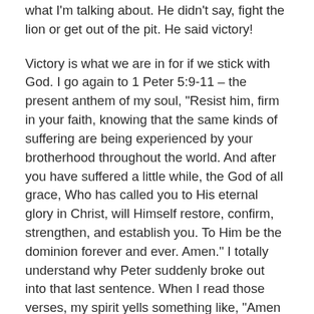what I'm talking about. He didn't say, fight the lion or get out of the pit. He said victory!
Victory is what we are in for if we stick with God. I go again to 1 Peter 5:9-11 – the present anthem of my soul, “Resist him, firm in your faith, knowing that the same kinds of suffering are being experienced by your brotherhood throughout the world. And after you have suffered a little while, the God of all grace, Who has called you to His eternal glory in Christ, will Himself restore, confirm, strengthen, and establish you. To Him be the dominion forever and ever. Amen.” I totally understand why Peter suddenly broke out into that last sentence. When I read those verses, my spirit yells something like, “Amen times infinity!!!!”
There may be no lattes on the battlefield, but I’ll tell you